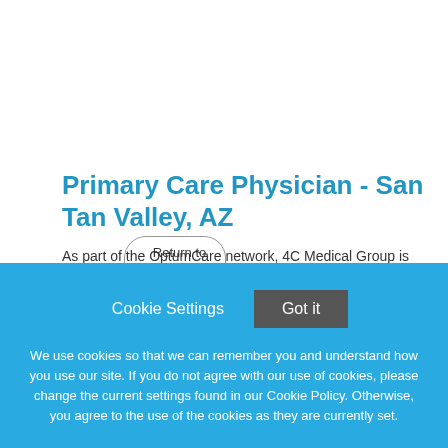← Return to Search Results
Primary Care Physician - San Tan Valley, AZ
As part of the OptumCare network, 4C Medical Group is
Cookie Settings   Got it
We use cookies so that we can remember you and understand how you use our site. If you do not agree with our use of cookies, please change the current settings found in our Cookie Policy. Otherwise, you agree to the use of the cookies as they are currently set.